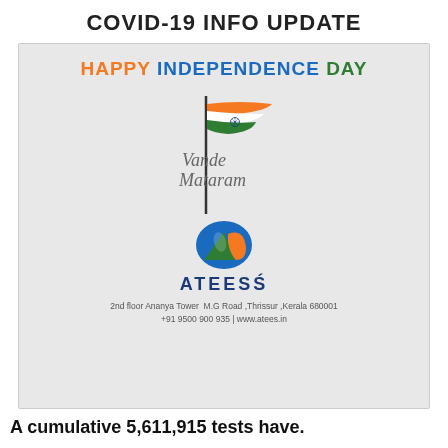COVID-19 INFO UPDATE
[Figure (infographic): Indian Independence Day infographic with tricolor flag SVG, Vande Mataram text, ATEES logo, and address. Background is light gray.]
A cumulative 5,611,915 tests have.